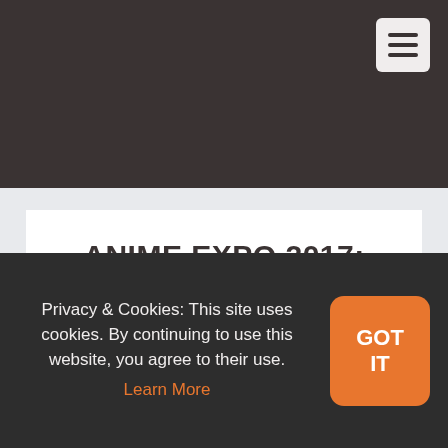ANIME EXPO 2017: SENTAI FILMWORKS TO DUB HAIKYU!!, 4 MORE
Privacy & Cookies: This site uses cookies. By continuing to use this website, you agree to their use. Learn More
GOT IT